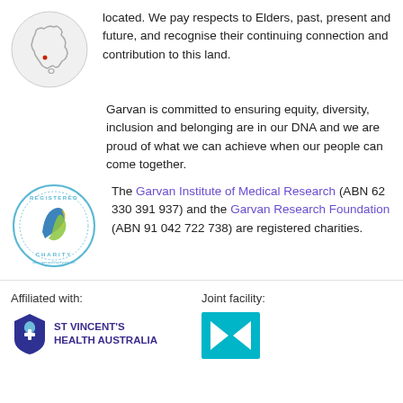[Figure (illustration): Outline map of Australia with a small red dot marking a location, inside a light grey circle]
located. We pay respects to Elders, past, present and future, and recognise their continuing connection and contribution to this land.
Garvan is committed to ensuring equity, diversity, inclusion and belonging are in our DNA and we are proud of what we can achieve when our people can come together.
[Figure (logo): Registered Charity circular seal logo with blue and green/yellow swoosh design]
The Garvan Institute of Medical Research (ABN 62 330 391 937) and the Garvan Research Foundation (ABN 91 042 722 738) are registered charities.
Affiliated with:
Joint facility:
[Figure (logo): St Vincent's Health Australia logo with blue flame/cross motif]
[Figure (logo): Joint facility logo - teal/cyan rectangle with white shapes]